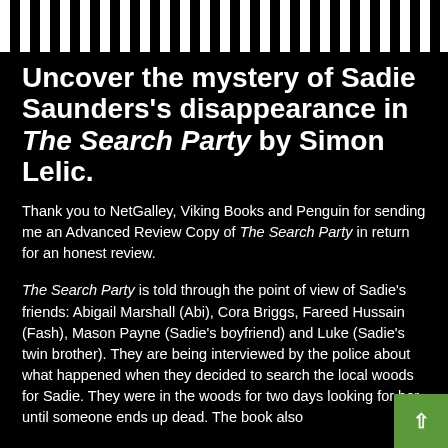[Figure (other): Black and white diagonal stripe bar across the top of the page]
Uncover the mystery of Sadie Saunders's disappearance in The Search Party by Simon Lelic.
Thank you to NetGalley, Viking Books and Penguin for sending me an Advanced Review Copy of The Search Party in return for an honest review.
The Search Party is told through the point of view of Sadie's friends: Abigail Marshall (Abi), Cora Briggs, Fareed Hussain (Fash), Mason Payne (Sadie's boyfriend) and Luke (Sadie's twin brother). They are being interviewed by the police about what happened when they decided to search the local woods for Sadie. They were in the woods for two days looking for her, until someone ends up dead. The book also